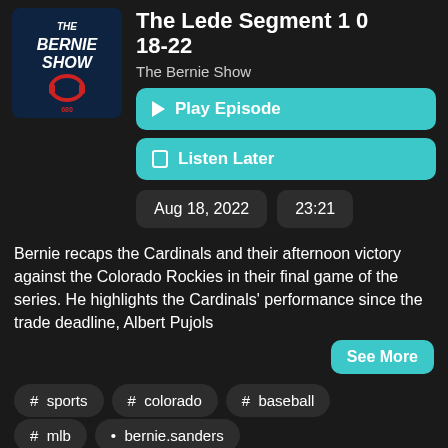[Figure (logo): The Bernie Show podcast logo — dark blue background with white bold text 'THE BERNIE SHOW' and a red radio headset graphic]
The Lede Segment 1 0 18-22
The Bernie Show
▶ Play Episode
🔖 Listen Later
Aug 18, 2022
23:21
Bernie recaps the Cardinals and their afternoon victory against the Colorado Rockies in their final game of the series. He highlights the Cardinals' performance since the trade deadline, Albert Pujols
See More
# sports
# colorado
# baseball
# mlb
• bernie.sanders